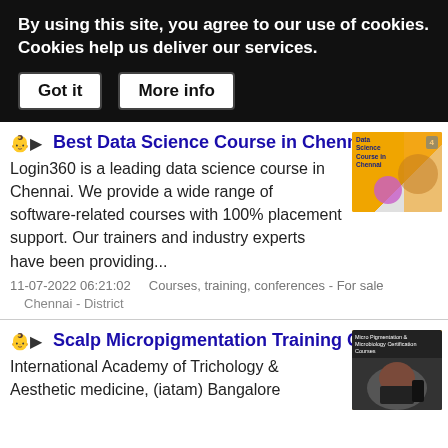By using this site, you agree to our use of cookies. Cookies help us deliver our services.
Got it   More info
Best Data Science Course in Chennai
Login360 is a leading data science course in Chennai. We provide a wide range of software-related courses with 100% placement support. Our trainers and industry experts have been providing...
11-07-2022 06:21:02     Courses, training, conferences - For sale
Chennai - District
[Figure (photo): Thumbnail image for Data Science Course in Chennai advertisement]
Scalp Micropigmentation Training Courses
International Academy of Trichology & Aesthetic medicine, (iatam) Bangalore
[Figure (photo): Thumbnail image for Scalp Micropigmentation Training Courses advertisement]